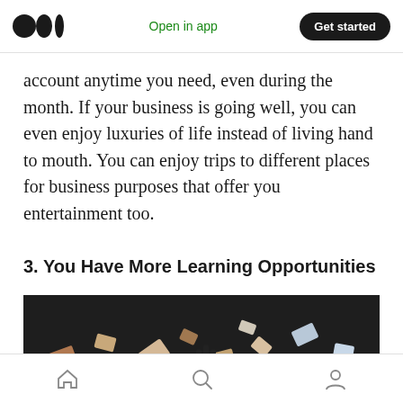Medium logo | Open in app | Get started
account anytime you need, even during the month. If your business is going well, you can even enjoy luxuries of life instead of living hand to mouth. You can enjoy trips to different places for business purposes that offer you entertainment too.
3. You Have More Learning Opportunities
[Figure (photo): Photo of papers or cards flying in the air against a dark background, graduation/celebration theme]
Home | Search | Profile navigation icons